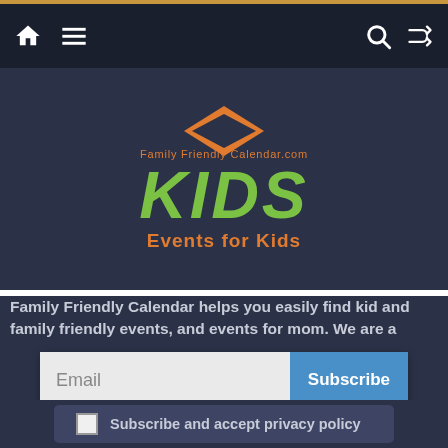Navigation bar with home, menu, search, and shuffle icons
[Figure (logo): FamilyFriendlyCalendar.com KIDS Events for Kids logo with green bold KIDS text and orange subtitle on dark background]
Family Friendly Calendar helps you easily find kid and family friendly events, and events for mom. We are a participant in the Amazon Services LLC Associates Program, an affiliate advertising program designed to provide a means for us to earn fees by linking to Amazon.com and affiliated sites. Our first priority
Email
Subscribe
Subscribe and accept privacy policy